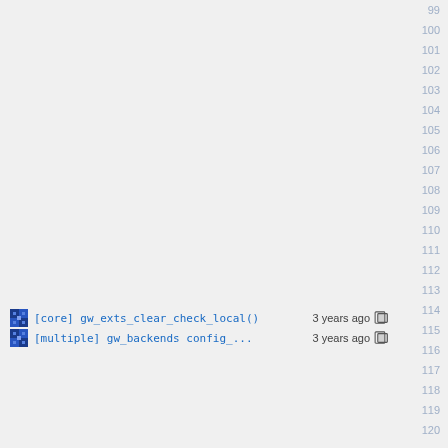Line numbers: 99-120 (right gutter)
[core] gw_exts_clear_check_local() 3 years ago  (line 115)
[multiple] gw_backends config_... 3 years ago  (line 116)